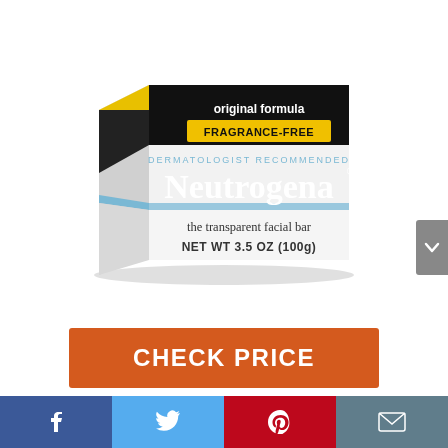[Figure (photo): Neutrogena Original Formula Fragrance-Free transparent facial bar soap box, white packaging with black band, blue accent stripe, DERMATOLOGIST RECOMMENDED text, NET WT 3.5 OZ (100g)]
CHECK PRICE
[Figure (infographic): Social share bar with Facebook, Twitter, Pinterest, and email icons]